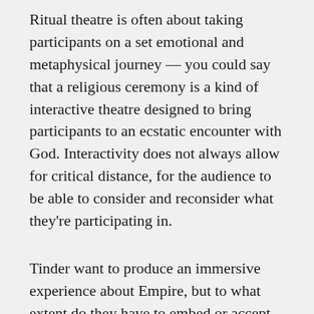Ritual theatre is often about taking participants on a set emotional and metaphysical journey — you could say that a religious ceremony is a kind of interactive theatre designed to bring participants to an ecstatic encounter with God. Interactivity does not always allow for critical distance, for the audience to be able to consider and reconsider what they're participating in.
Tinder want to produce an immersive experience about Empire, but to what extent do they have to embed or accept post-colonial criticism in their show, and how much can they allow the audience to, crudely, reach their own conclusions? How can they present an immersive experience about a racist society without either recreating the structures of racism or crudely lampooning them? These same questions would face